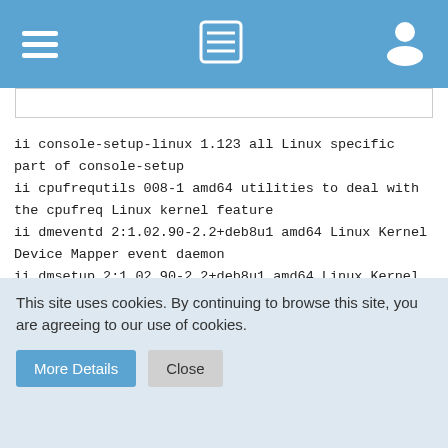Navigation bar with hamburger menu, list icon, and user icon
ii console-setup-linux 1.123 all Linux specific part of console-setup
ii cpufrequtils 008-1 amd64 utilities to deal with the cpufreq Linux kernel feature
ii dmeventd 2:1.02.90-2.2+deb8u1 amd64 Linux Kernel Device Mapper event daemon
ii dmsetup 2:1.02.90-2.2+deb8u1 amd64 Linux Kernel Device Mapper userspace library
ii firmware-linux 0.43 all Binary firmware for various drivers in the Linux kernel (meta-package)
ii firmware-linux-free 3.3 all Binary firmware for various drivers in the Linux kernel
ii firmware-linux-nonfree 0.43 all Binary firmware for various drivers in the Linux kernel
This site uses cookies. By continuing to browse this site, you are agreeing to our use of cookies.